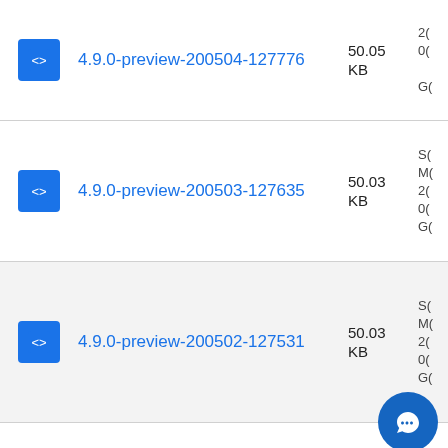4.9.0-preview-200504-127776 | 50.05 KB
4.9.0-preview-200503-127635 | 50.03 KB
4.9.0-preview-200502-127531 | 50.03 KB
4.9.0-preview-200501-127441 | 50.04